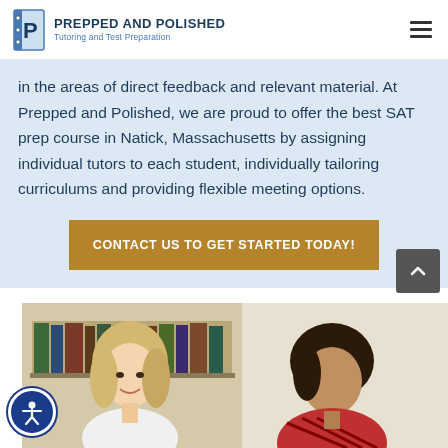PREPPED AND POLISHED — Tutoring and Test Preparation
in the areas of direct feedback and relevant material. At Prepped and Polished, we are proud to offer the best SAT prep course in Natick, Massachusetts by assigning individual tutors to each student, individually tailoring curriculums and providing flexible meeting options.
CONTACT US TO GET STARTED TODAY!
[Figure (photo): A female tutor smiling while working with a male student in a library or study room setting.]